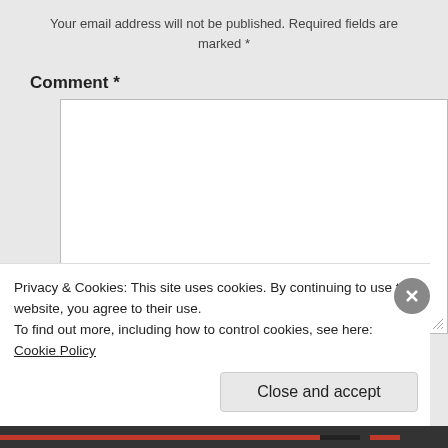Your email address will not be published. Required fields are marked *
Comment *
[Figure (screenshot): Empty comment text area input box with resize handle]
Name
Privacy & Cookies: This site uses cookies. By continuing to use this website, you agree to their use.
To find out more, including how to control cookies, see here: Cookie Policy
Close and accept